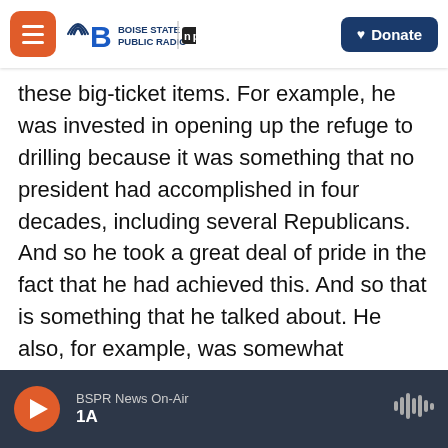Boise State Public Radio | NPR | Donate
these big-ticket items. For example, he was invested in opening up the refuge to drilling because it was something that no president had accomplished in four decades, including several Republicans. And so he took a great deal of pride in the fact that he had achieved this. And so that is something that he talked about. He also, for example, was somewhat interested in the fact that he shrunk national monuments that were established by Barack Obama. And again, when aides would tell him that a policy was done by the Obama administration, he had some interest in, for example, doing that because he felt like it was
BSPR News On-Air
1A